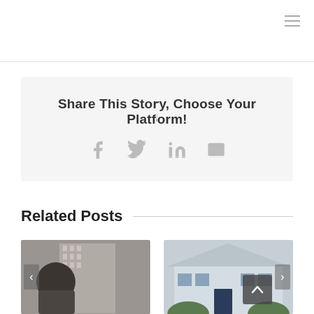Share This Story, Choose Your Platform!
[Figure (infographic): Social sharing icons: Facebook (f), Twitter (bird), LinkedIn (in), Email (envelope)]
Related Posts
[Figure (photo): Person viewed from behind looking at a tall building, carousel with left arrow]
[Figure (photo): Suburban house with blue shutters and white exterior, scroll-up button overlay, right arrow navigation]